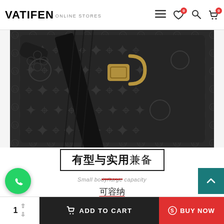VATIFEN ONLINE STORES
[Figure (photo): Close-up photo of a dark monogram-patterned bag with black nylon strap and gold-tone metal buckle hardware]
有型与实用兼备
Small body/large capacity
可容纳
可放下44件衣 load 由脑 衣物 化妆品等随身物品